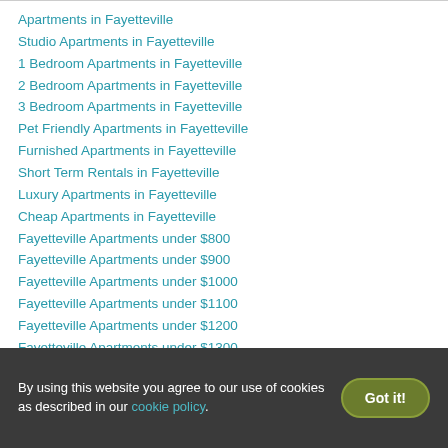Apartments in Fayetteville
Studio Apartments in Fayetteville
1 Bedroom Apartments in Fayetteville
2 Bedroom Apartments in Fayetteville
3 Bedroom Apartments in Fayetteville
Pet Friendly Apartments in Fayetteville
Furnished Apartments in Fayetteville
Short Term Rentals in Fayetteville
Luxury Apartments in Fayetteville
Cheap Apartments in Fayetteville
Fayetteville Apartments under $800
Fayetteville Apartments under $900
Fayetteville Apartments under $1000
Fayetteville Apartments under $1100
Fayetteville Apartments under $1200
Fayetteville Apartments under $1300
By using this website you agree to our use of cookies as described in our cookie policy.